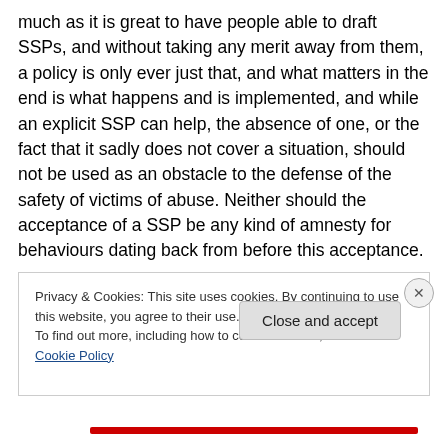much as it is great to have people able to draft SSPs, and without taking any merit away from them, a policy is only ever just that, and what matters in the end is what happens and is implemented, and while an explicit SSP can help, the absence of one, or the fact that it sadly does not cover a situation, should not be used as an obstacle to the defense of the safety of victims of abuse. Neither should the acceptance of a SSP be any kind of amnesty for behaviours dating back from before this acceptance.
Privacy & Cookies: This site uses cookies. By continuing to use this website, you agree to their use.
To find out more, including how to control cookies, see here: Cookie Policy
Close and accept